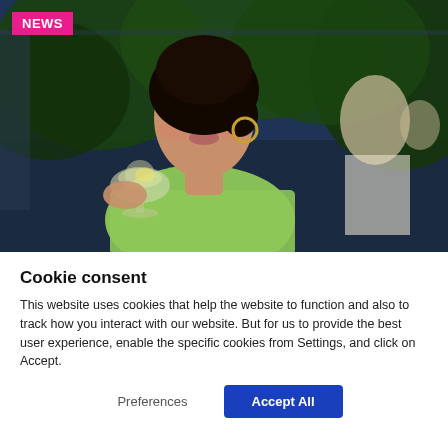[Figure (photo): A woman with dark hair pulled back, wearing gold hoop earrings and a light green/lime textured top, holding a stemless wine glass with white wine. She is at an outdoor restaurant/venue at night with trees and other people visible in the background. A pink 'NEWS' badge appears in the top-left corner of the image.]
Cookie consent
This website uses cookies that help the website to function and also to track how you interact with our website. But for us to provide the best user experience, enable the specific cookies from Settings, and click on Accept.